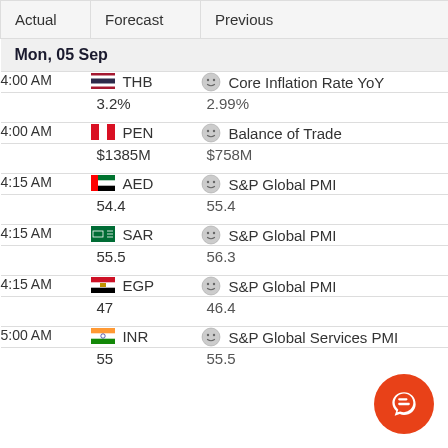| Actual | Forecast | Previous |
| --- | --- | --- |
| Mon, 05 Sep |  |  |
| 4:00 AM | THB | Core Inflation Rate YoY |  |  |
| 3.2% |  | 2.99% |
| 4:00 AM | PEN | Balance of Trade |  |  |
| $1385M |  | $758M |
| 4:15 AM | AED | S&P Global PMI |  |  |
| 54.4 |  | 55.4 |
| 4:15 AM | SAR | S&P Global PMI |  |  |
| 55.5 |  | 56.3 |
| 4:15 AM | EGP | S&P Global PMI |  |  |
| 47 |  | 46.4 |
| 5:00 AM | INR | S&P Global Services PMI |  |  |
| 55 |  | 55.5 |